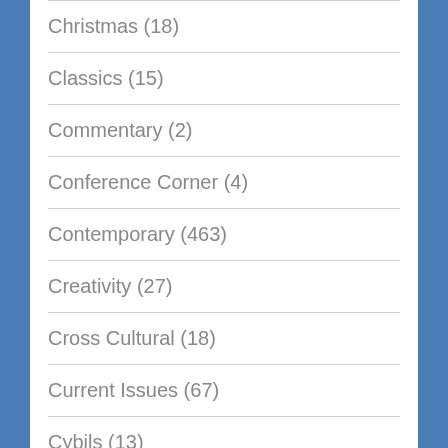Christmas (18)
Classics (15)
Commentary (2)
Conference Corner (4)
Contemporary (463)
Creativity (27)
Cross Cultural (18)
Current Issues (67)
Cybils (13)